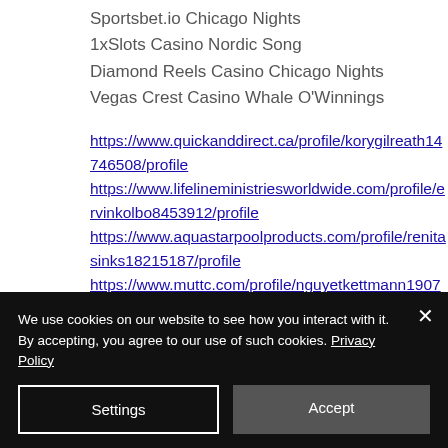Sportsbet.io Chicago Nights
1xSlots Casino Nordic Song
Diamond Reels Casino Chicago Nights
Vegas Crest Casino Whale O'Winnings
https://www.quickanddirect.ca/profile/korygilreath14746508/profile https://www.lifelineministriesworldwide.com/profile/ervinkolbo8453912/profile https://www.aquastarpoolproducts.com/profile/renitasinks18215187/profile https://www.muttc.com/profile/nguyetkettmann19076090/profile
We use cookies on our website to see how you interact with it. By accepting, you agree to our use of such cookies. Privacy Policy